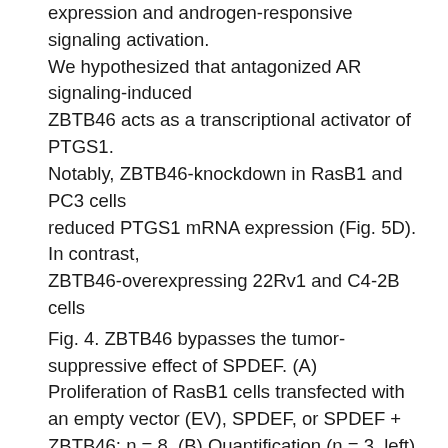expression and androgen-responsive signaling activation. We hypothesized that antagonized AR signaling-induced ZBTB46 acts as a transcriptional activator of PTGS1. Notably, ZBTB46-knockdown in RasB1 and PC3 cells reduced PTGS1 mRNA expression (Fig. 5D). In contrast, ZBTB46-overexpressing 22Rv1 and C4-2B cells
Fig. 4. ZBTB46 bypasses the tumor-suppressive effect of SPDEF. (A) Proliferation of RasB1 cells transfected with an empty vector (EV), SPDEF, or SPDEF + ZBTB46; n = 8. (B) Quantification (n = 3, left) and selected images (right) of colony-formation assays of the stable RasB1 cell line containing an EV, SPDEF, or SPDEF + ZBTB46. (C) Western blotting of samples from cells assessed in 4A and 4B. (D–F) Growth (D), images (E), and weights (F) of tumor xenografts in male nude mice 4 weeks after subcutaneous inoculation with RasB1 cells stably expressing an EV, SPDEF, or SPDEF + ZBTB46. n = 4 mice per group. (G and H) IHC staining (G) and
analysis (H) of subcutaneous tumors with SCH 58261